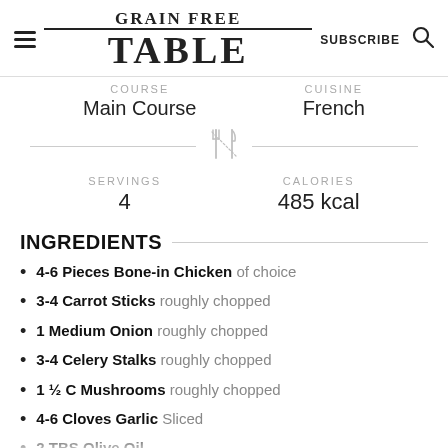GRAIN FREE TABLE | SUBSCRIBE
COURSE: Main Course | CUISINE: French
SERVINGS: 4 | CALORIES: 485 kcal
INGREDIENTS
4-6 Pieces Bone-in Chicken of choice
3-4 Carrot Sticks roughly chopped
1 Medium Onion roughly chopped
3-4 Celery Stalks roughly chopped
1 ½ C Mushrooms roughly chopped
4-6 Cloves Garlic Sliced
2 TBS Olive Oil
2 TBS Butter